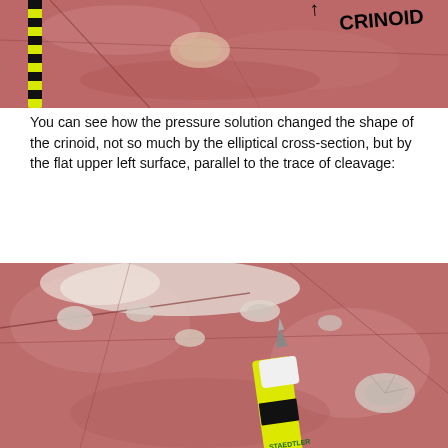[Figure (photo): Close-up photograph of a reddish rock surface with a yellow ruler/scale bar at left and handwritten label 'CRINOID' at upper right. Shows a fossil crinoid in reddish limestone.]
You can see how the pressure solution changed the shape of the crinoid, not so much by the elliptical cross-section, but by the flat upper left surface, parallel to the trace of cleavage:
[Figure (photo): Close-up photograph of a reddish rock surface showing multiple white/grey elliptical crinoid fossils embedded in the rock, with a yellow mechanical pencil placed in the lower center for scale.]